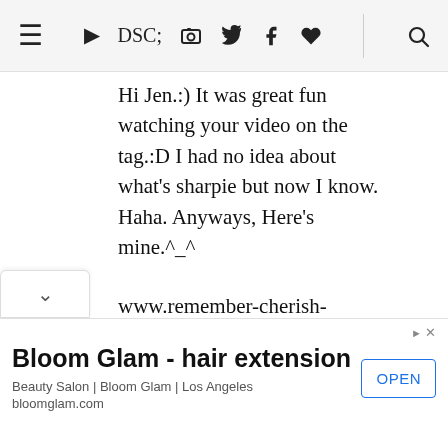≡ ▶ 📷 🐦 f ♥ 🔍
Hi Jen.:) It was great fun watching your video on the tag.:D I had no idea about what's sharpie but now I know. Haha. Anyways, Here's mine.^_^
www.remember-cherish-await.blogspot.com
Hope you enjoy the visit to my blog. Haha.:D
[Figure (other): Advertisement banner: Bloom Glam - hair extension. Beauty Salon | Bloom Glam | Los Angeles. bloomglam.com. OPEN button.]